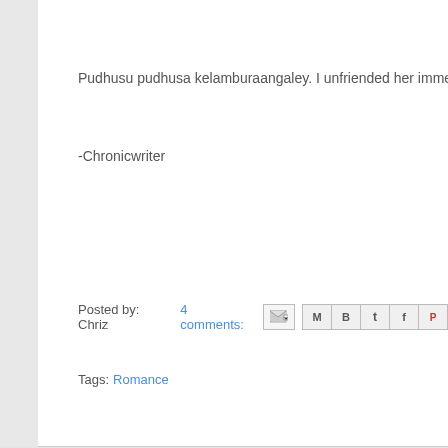Pudhusu pudhusa kelamburaangaley. I unfriended her immediately. She
-Chronicwriter
Posted by: Chriz   4 comments:
Tags: Romance
Newer Posts
Hom
Subscribe to: P